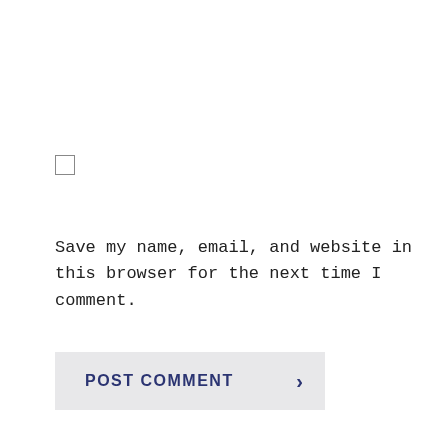[Figure (other): An unchecked checkbox (empty square with border)]
Save my name, email, and website in this browser for the next time I comment.
[Figure (other): POST COMMENT button with right-arrow chevron, light grey background, dark navy bold uppercase text]